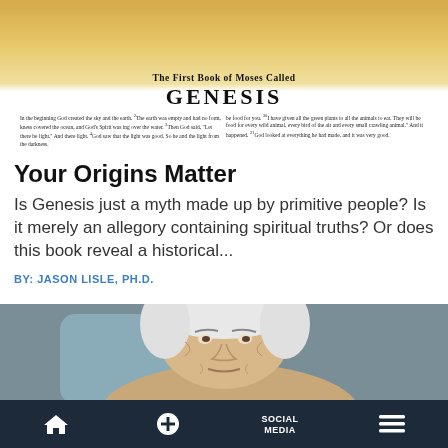[Figure (photo): Photo of an open Bible showing the first page of Genesis - 'The First Book of Moses Called GENESIS' with text from the beginning of Genesis]
Your Origins Matter
Is Genesis just a myth made up by primitive people? Is it merely an allegory containing spiritual truths? Or does this book reveal a historical...
BY: JASON LISLE, PH.D.
[Figure (photo): Close-up photo of a very elderly person with white hair and deeply wrinkled face, looking seriously at the camera]
SOCIAL MEDIA